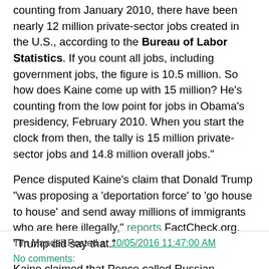counting from January 2010, there have been nearly 12 million private-sector jobs created in the U.S., according to the Bureau of Labor Statistics. If you count all jobs, including government jobs, the figure is 10.5 million. So how does Kaine come up with 15 million? He's counting from the low point for jobs in Obama's presidency, February 2010. When you start the clock from then, the tally is 15 million private-sector jobs and 14.8 million overall jobs."
Pence disputed Kaine's claim that Donald Trump "was proposing a 'deportation force' to 'go house to house' and send away millions of immigrants who are here illegally," reports FactCheck.org. "Trump did say that."
Kaine claimed that Pence called Russian President Vladimir Putin a “better leader” than President Obama, reports FactCheck.org. Pence didn't call Putin a "better leader" but he did call Putin a “stronger leader.”
Tim Mandell Posted at 10/05/2016 11:47:00 AM
No comments: